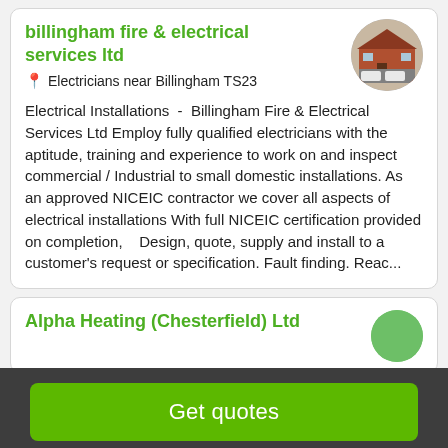billingham fire & electrical services ltd
[Figure (photo): Circular company photo showing a brick building with white vans parked outside]
📍 Electricians near Billingham TS23
Electrical Installations  -  Billingham Fire & Electrical Services Ltd Employ fully qualified electricians with the aptitude, training and experience to work on and inspect commercial / Industrial to small domestic installations. As an approved NICEIC contractor we cover all aspects of electrical installations With full NICEIC certification provided on completion,   Design, quote, supply and install to a customer's request or specification. Fault finding. Reac...
Alpha Heating (Chesterfield) Ltd
Get quotes